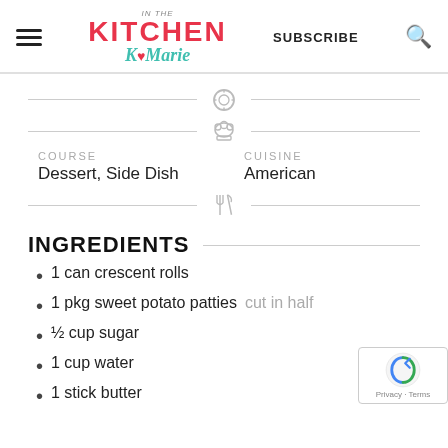IN THE KITCHEN with KoMarie — SUBSCRIBE
[Figure (other): Timer/clock icon, chef hat icon, and crossed fork and knife icon as recipe metadata dividers]
COURSE
Dessert, Side Dish
CUISINE
American
INGREDIENTS
1 can crescent rolls
1 pkg sweet potato patties cut in half
½ cup sugar
1 cup water
1 stick butter